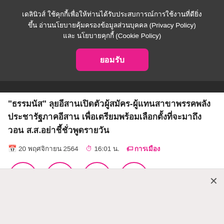เดลินิวส์ ใช้คุกกี้เพื่อให้ท่านได้รับประสบการณ์การใช้งานที่ดียิ่งขึ้น อ่านนโยบายคุ้มครองข้อมูลส่วนบุคคล (Privacy Policy) และ นโยบายคุกกี้ (Cookie Policy)
ยอมรับ
"ธรรมนัส" ลุยอีสานเปิดตัวผู้สมัคร-ผู้แทนสาขาพรรคพลังประชารัฐภาคอีสาน เพื่อเตรียมพร้อมเลือกตั้งที่จะมาถึง วอน ส.ส.อย่าชี้ชั่วพูดรายวัน
20 พฤศจิกายน 2564  16:01 น.  การเมือง
[Figure (other): Social share buttons: link (2), Facebook (2), Twitter (2), LINE (4)]